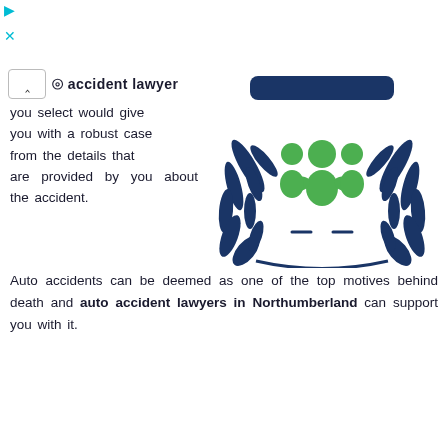o accident lawyer
you select would give you with a robust case from the details that are provided by you about the accident.
[Figure (logo): Legal/organizational emblem with blue laurel branches, a green figure icon in the center, and a dark blue rounded rectangle bar at the top.]
Auto accidents can be deemed as one of the top motives behind death and auto accident lawyers in Northumberland can support you with it.